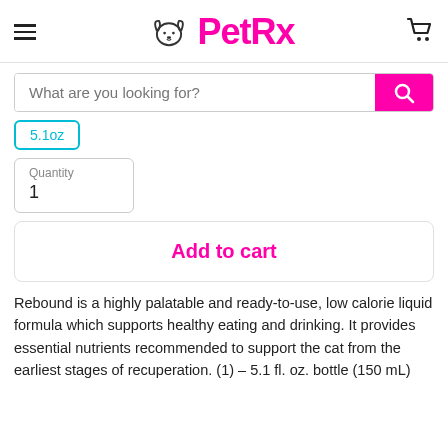PetRx
What are you looking for?
5.1oz
Quantity
1
Add to cart
Rebound is a highly palatable and ready-to-use, low calorie liquid formula which supports healthy eating and drinking. It provides essential nutrients recommended to support the cat from the earliest stages of recuperation. (1) – 5.1 fl. oz. bottle (150 mL)